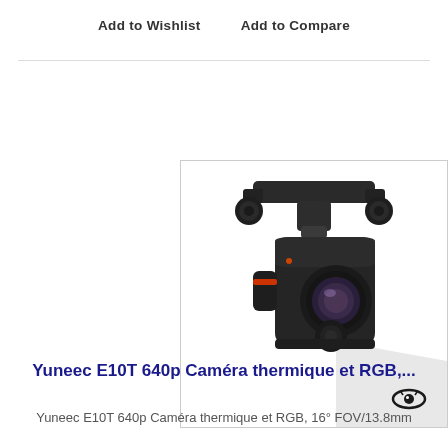Add to Wishlist    Add to Compare
[Figure (photo): Yuneec E10T 640p thermal and RGB camera gimbal, dark colored, showing dual lens on front, with drone mounting bracket on top. An eye icon is visible in the bottom-right of the image frame.]
Yuneec E10T 640p Caméra thermique et RGB,...
Yuneec E10T 640p Caméra thermique et RGB, 16° FOV/13.8mm